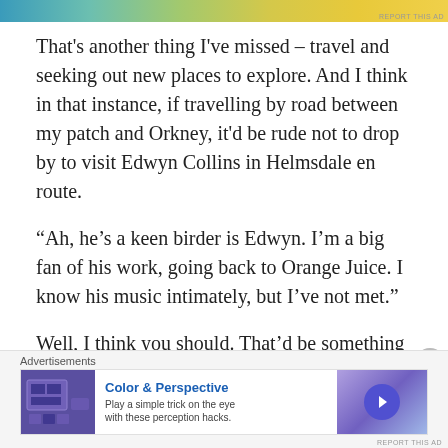[Figure (other): Advertisement banner with gradient colors (teal to yellow)]
That's another thing I've missed – travel and seeking out new places to explore. And I think in that instance, if travelling by road between my patch and Orkney, it'd be rude not to drop by to visit Edwyn Collins in Helmsdale en route.
“Ah, he’s a keen birder is Edwyn. I’m a big fan of his work, going back to Orange Juice. I know his music intimately, but I’ve not met.”
Well, I think you should. That’d be something down the line for us all to savour, the two of you working together.
[Figure (other): Advertisement for Color & Perspective with purple room image and play button]
Advertisements